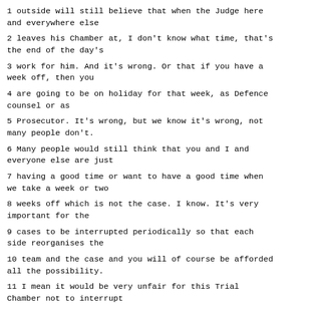1 outside will still believe that when the Judge here and everywhere else
2 leaves his Chamber at, I don't know what time, that's the end of the day's
3 work for him. And it's wrong. Or that if you have a week off, then you
4 are going to be on holiday for that week, as Defence counsel or as
5 Prosecutor. It's wrong, but we know it's wrong, not many people don't.
6 Many people would still think that you and I and everyone else are just
7 having a good time or want to have a good time when we take a week or two
8 weeks off which is not the case. I know. It's very important for the
9 cases to be interrupted periodically so that each side reorganises the
10 team and the case and you will of course be afforded all the possibility.
11 I mean it would be very unfair for this Trial Chamber not to interrupt